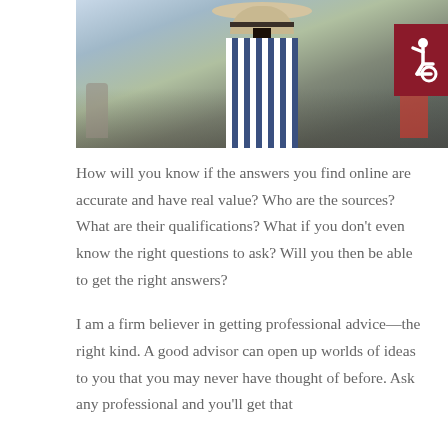[Figure (photo): Woman seen from behind wearing a wide-brim beige sun hat and a blue-and-white striped sleeveless top, standing in a crowded outdoor area.]
[Figure (logo): Dark red square badge with white wheelchair accessibility symbol (ISA icon).]
How will you know if the answers you find online are accurate and have real value? Who are the sources? What are their qualifications? What if you don't even know the right questions to ask? Will you then be able to get the right answers?
I am a firm believer in getting professional advice—the right kind. A good advisor can open up worlds of ideas to you that you may never have thought of before. Ask any professional and you'll get that